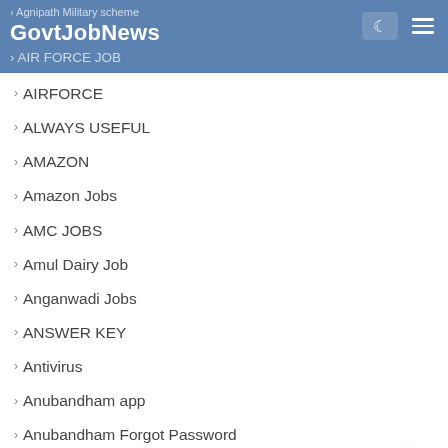Agnipath Military scheme | GovtJobNews | AIR FORCE JOB
AIRFORCE
ALWAYS USEFUL
AMAZON
Amazon Jobs
AMC JOBS
Amul Dairy Job
Anganwadi Jobs
ANSWER KEY
Antivirus
Anubandham app
Anubandham Forgot Password
Anubandham Form
Anubandham gov in Registration